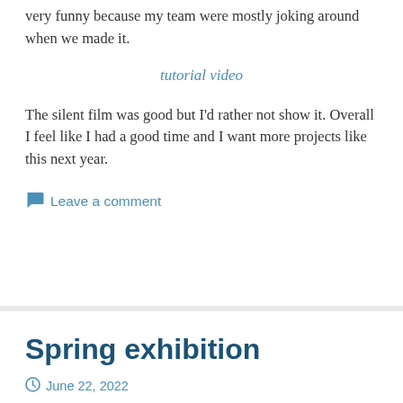very funny because my team were mostly joking around when we made it.
tutorial video
The silent film was good but I'd rather not show it. Overall I feel like I had a good time and I want more projects like this next year.
Leave a comment
Spring exhibition
June 22, 2022